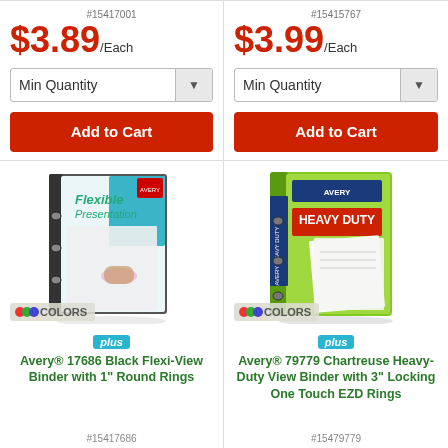#15417001
$3.89/Each
Min Quantity
Add to Cart
#15415767
$3.99/Each
Min Quantity
Add to Cart
[Figure (photo): Avery Flexible Presentation binder, dark grey/black color, with 'Flexible Presentation' text on cover]
COLORS
plus
Avery® 17686 Black Flexi-View Binder with 1" Round Rings
#15417686
[Figure (photo): Avery Heavy Duty view binder, chartreuse/lime green color, with 'HEAVY DUTY' label on front]
COLORS
plus
Avery® 79779 Chartreuse Heavy-Duty View Binder with 3" Locking One Touch EZD Rings
#15479779